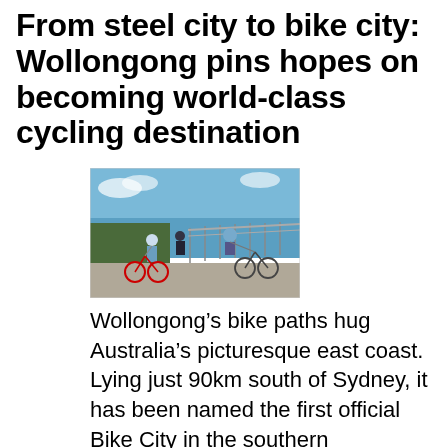From steel city to bike city: Wollongong pins hopes on becoming world-class cycling destination
[Figure (photo): Cyclists with bikes on a coastal path overlooking the ocean, with a railing and blue sky visible. Several people wearing helmets are standing with their bicycles.]
Wollongong's bike paths hug Australia's picturesque east coast. Lying just 90km south of Sydney, it has been named the first official Bike City in the southern hemisphere. Photograph: Wollongong City Council